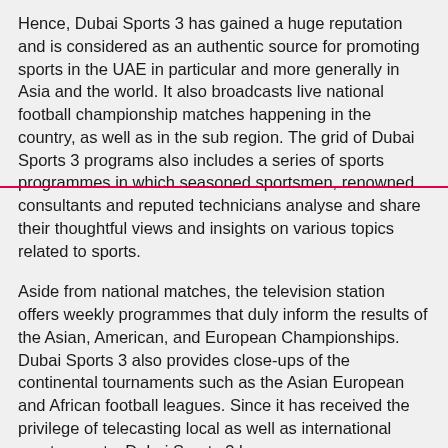Hence, Dubai Sports 3 has gained a huge reputation and is considered as an authentic source for promoting sports in the UAE in particular and more generally in Asia and the world. It also broadcasts live national football championship matches happening in the country, as well as in the sub region. The grid of Dubai Sports 3 programs also includes a series of sports programmes in which seasoned sportsmen, renowned consultants and reputed technicians analyse and share their thoughtful views and insights on various topics related to sports.
Aside from national matches, the television station offers weekly programmes that duly inform the results of the Asian, American, and European Championships. Dubai Sports 3 also provides close-ups of the continental tournaments such as the Asian European and African football leagues. Since it has received the privilege of telecasting local as well as international sports events, Dubai Sports 3 has